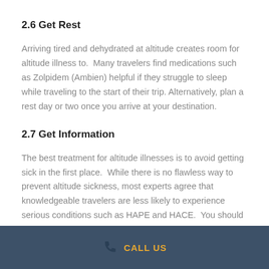2.6 Get Rest
Arriving tired and dehydrated at altitude creates room for altitude illness to. Many travelers find medications such as Zolpidem (Ambien) helpful if they struggle to sleep while traveling to the start of their trip. Alternatively, plan a rest day or two once you arrive at your destination.
2.7 Get Information
The best treatment for altitude illnesses is to avoid getting sick in the first place. While there is no flawless way to prevent altitude sickness, most experts agree that knowledgeable travelers are less likely to experience serious conditions such as HAPE and HACE. You should
CALL US